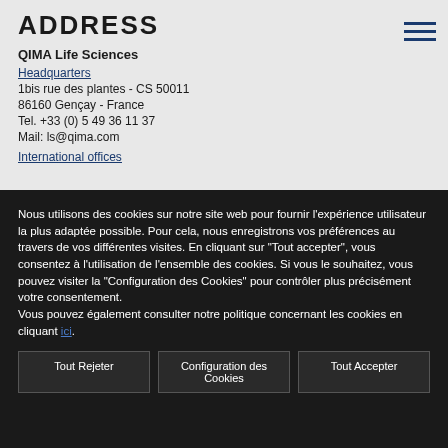ADDRESS
QIMA Life Sciences
Headquarters
1bis rue des plantes - CS 50011
86160 Gençay - France
Tel. +33 (0) 5 49 36 11 37
Mail: ls@qima.com
International offices
Nous utilisons des cookies sur notre site web pour fournir l'expérience utilisateur la plus adaptée possible. Pour cela, nous enregistrons vos préférences au travers de vos différentes visites. En cliquant sur "Tout accepter", vous consentez à l'utilisation de l'ensemble des cookies. Si vous le souhaitez, vous pouvez visiter la "Configuration des Cookies" pour contrôler plus précisément votre consentement.
Vous pouvez également consulter notre politique concernant les cookies en cliquant ici.
Tout Rejeter
Configuration des Cookies
Tout Accepter